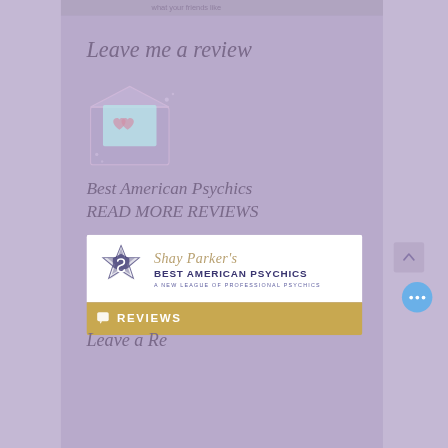what your friends like
Leave me a review
[Figure (illustration): Open envelope icon with a heart letter inside, in light purple/lavender tones with sparkle dots]
Best American Psychics
READ MORE REVIEWS
[Figure (logo): Shay Parker's Best American Psychics logo - star badge with S symbol on left, company name text on right, tagline 'A NEW LEAGUE OF PROFESSIONAL PSYCHICS'. Below is a gold/tan bar with REVIEWS label and chat bubble icon.]
Leave a Review